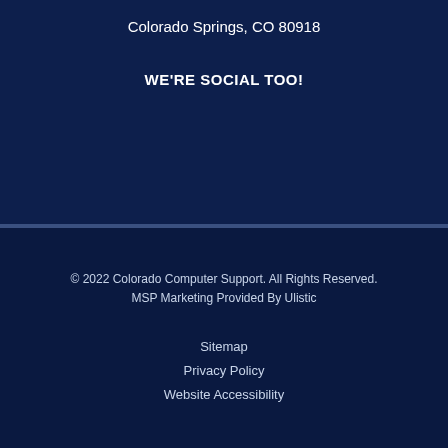Colorado Springs, CO 80918
WE'RE SOCIAL TOO!
[Figure (illustration): Four social media icons: Facebook, Twitter, LinkedIn, YouTube]
© 2022 Colorado Computer Support. All Rights Reserved.
MSP Marketing Provided By Ulistic
Sitemap
Privacy Policy
Website Accessibility